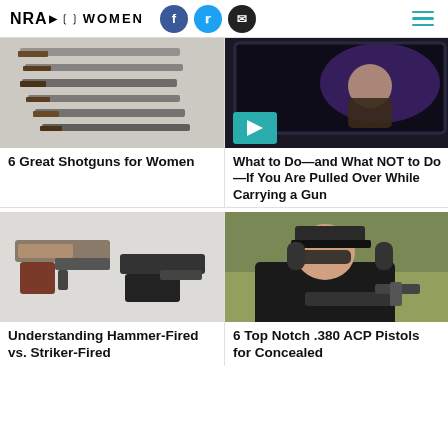NRA WOMEN
[Figure (photo): Multiple shotguns arranged diagonally on white background]
[Figure (photo): Woman inside a dark car at night, video thumbnail with play button]
6 Great Shotguns for Women
What to Do—and What NOT to Do—If You Are Pulled Over While Carrying a Gun
[Figure (photo): Two handguns side by side: a 1911-style pistol and a compact black pistol]
[Figure (photo): Woman wearing cap, shooting glasses and headphones aiming a pistol at a shooting range]
Understanding Hammer-Fired vs. Striker-Fired
6 Top Notch .380 ACP Pistols for Concealed